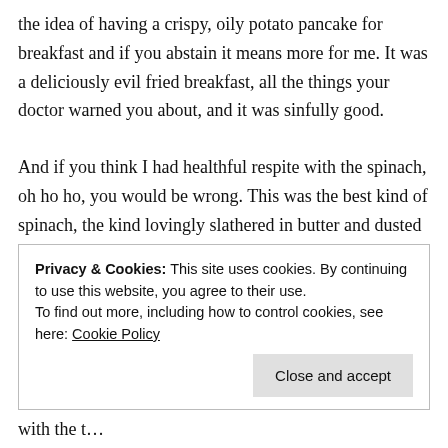the idea of having a crispy, oily potato pancake for breakfast and if you abstain it means more for me. It was a deliciously evil fried breakfast, all the things your doctor warned you about, and it was sinfully good.
And if you think I had healthful respite with the spinach, oh ho ho, you would be wrong. This was the best kind of spinach, the kind lovingly slathered in butter and dusted with salt. Delish. I felt like a very wicked little glutton by the time I'd finished it, and instead of guilt all I
Privacy & Cookies: This site uses cookies. By continuing to use this website, you agree to their use.
To find out more, including how to control cookies, see here: Cookie Policy
Close and accept
l…a little bit more healthful this time and please share with the t…